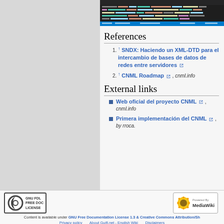[Figure (screenshot): Screenshot of XML/code editor with colored syntax highlighting on dark background]
References
↑ SNDX: Haciendo un XML-DTD para el intercambio de bases de datos de redes entre servidores [external link]
↑ CNML Roadmap [external link], cnml.info
External links
Web oficial del proyecto CNML [external link], cnml.info
Primera implementación del CNML [external link], by rroca.
[Figure (logo): GNU FDL Free Doc License badge]
[Figure (logo): Powered by MediaWiki badge]
Content is available under GNU Free Documentation License 1.3 & Creative Commons Attribution/Sh
Privacy policy    About Guifi.net - English Wiki    Disclaimers